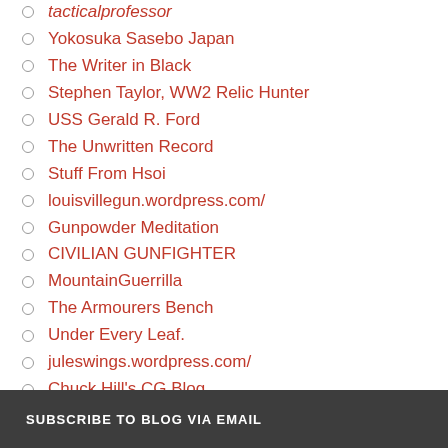tacticalprofessor
Yokosuka Sasebo Japan
The Writer in Black
Stephen Taylor, WW2 Relic Hunter
USS Gerald R. Ford
The Unwritten Record
Stuff From Hsoi
louisvillegun.wordpress.com/
Gunpowder Meditation
CIVILIAN GUNFIGHTER
MountainGuerrilla
The Armourers Bench
Under Every Leaf.
juleswings.wordpress.com/
Chuck Hill's CG Blog
Meccanica Mekaniikka Mecanică
SUBSCRIBE TO BLOG VIA EMAIL